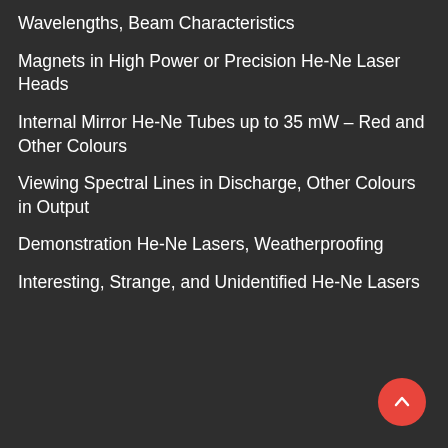Wavelengths, Beam Characteristics
Magnets in High Power or Precision He-Ne Laser Heads
Internal Mirror He-Ne Tubes up to 35 mW – Red and Other Colours
Viewing Spectral Lines in Discharge, Other Colours in Output
Demonstration He-Ne Lasers, Weatherproofing
Interesting, Strange, and Unidentified He-Ne Lasers